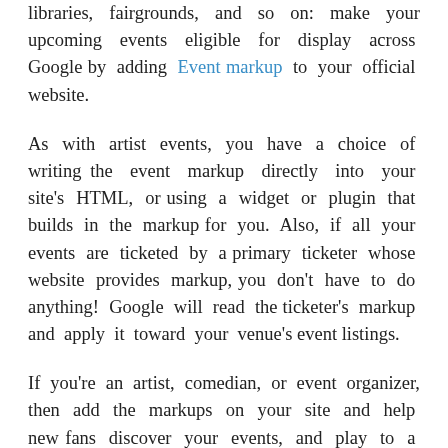libraries, fairgrounds, and so on: make your upcoming events eligible for display across Google by adding Event markup to your official website.
As with artist events, you have a choice of writing the event markup directly into your site's HTML, or using a widget or plugin that builds in the markup for you. Also, if all your events are ticketed by a primary ticketer whose website provides markup, you don't have to do anything! Google will read the ticketer's markup and apply it toward your venue's event listings.
If you're an artist, comedian, or event organizer, then add the markups on your site and help new fans discover your events, and play to a packed